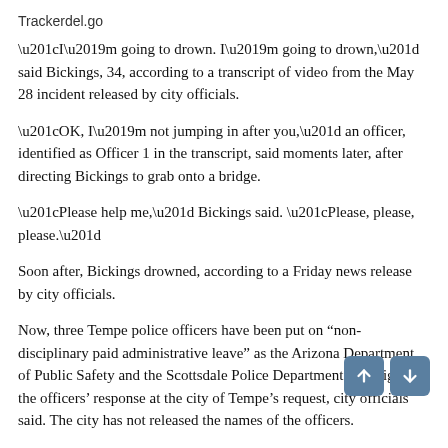Trackerdel.go
“I’m going to drown. I’m going to drown,” said Bickings, 34, according to a transcript of video from the May 28 incident released by city officials.
“OK, I’m not jumping in after you,” an officer, identified as Officer 1 in the transcript, said moments later, after directing Bickings to grab onto a bridge.
“Please help me,” Bickings said. “Please, please, please.”
Soon after, Bickings drowned, according to a Friday news release by city officials.
Now, three Tempe police officers have been put on “non-disciplinary paid administrative leave” as the Arizona Department of Public Safety and the Scottsdale Police Department investigate the officers’ response at the city of Tempe’s request, city officials said. The city has not released the names of the officers.
In a statement, Police Chief Jeff Glover and City Manager Andrew Ching called Bickings’s death a “tragedy.” Glover met with Bickings’s